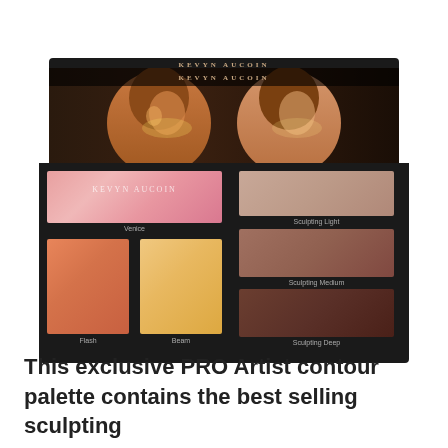[Figure (photo): Kevyn Aucoin PRO Artist contour makeup palette with open lid showing two models on lid interior. Palette contains: Venice blush (pink), Flash (orange highlight), Beam (gold highlight), Sculpting Light, Sculpting Medium, and Sculpting Deep powder shades.]
This exclusive PRO Artist contour palette contains the best selling sculpting